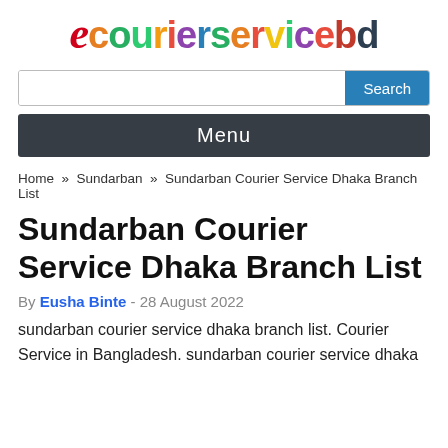[Figure (logo): ecourierservicebd logo with stylized 'e' in red and multicolored text]
Search
Menu
Home » Sundarban » Sundarban Courier Service Dhaka Branch List
Sundarban Courier Service Dhaka Branch List
By Eusha Binte - 28 August 2022
sundarban courier service dhaka branch list. Courier Service in Bangladesh. sundarban courier service dhaka